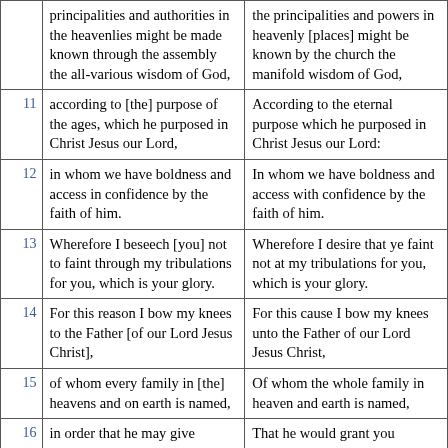| # | Column 1 | Column 2 |
| --- | --- | --- |
|  | principalities and authorities in the heavenlies might be made known through the assembly the all-various wisdom of God, | the principalities and powers in heavenly [places] might be known by the church the manifold wisdom of God, |
| 11 | according to [the] purpose of the ages, which he purposed in Christ Jesus our Lord, | According to the eternal purpose which he purposed in Christ Jesus our Lord: |
| 12 | in whom we have boldness and access in confidence by the faith of him. | In whom we have boldness and access with confidence by the faith of him. |
| 13 | Wherefore I beseech [you] not to faint through my tribulations for you, which is your glory. | Wherefore I desire that ye faint not at my tribulations for you, which is your glory. |
| 14 | For this reason I bow my knees to the Father [of our Lord Jesus Christ], | For this cause I bow my knees unto the Father of our Lord Jesus Christ, |
| 15 | of whom every family in [the] heavens and on earth is named, | Of whom the whole family in heaven and earth is named, |
| 16 | in order that he may give | That he would grant you |